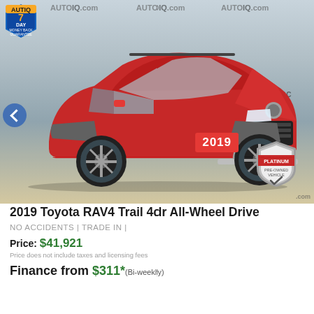[Figure (photo): 2019 Toyota RAV4 Trail red SUV photographed outdoors with AutoIQ.com watermarks, 7-day money back guarantee badge, Platinum Pre-Owned Vehicle badge, and 2019 year tag on bumper]
2019 Toyota RAV4 Trail 4dr All-Wheel Drive
NO ACCIDENTS | TRADE IN |
Price: $41,921
Price does not include taxes and licensing fees
Finance from $311* (Bi-weekly)